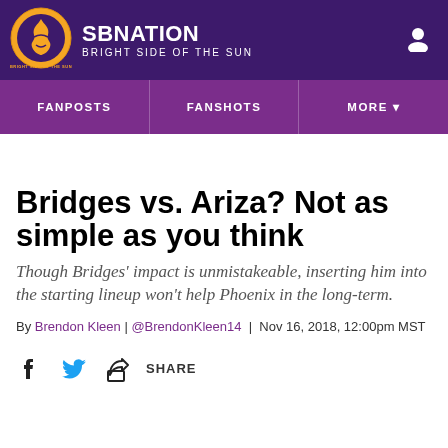SB NATION | BRIGHT SIDE OF THE SUN
[Figure (logo): SB Nation Bright Side of the Sun logo - orange circle with basketball flame graphic]
Bridges vs. Ariza? Not as simple as you think
Though Bridges' impact is unmistakeable, inserting him into the starting lineup won't help Phoenix in the long-term.
By Brendon Kleen | @BrendonKleen14 | Nov 16, 2018, 12:00pm MST